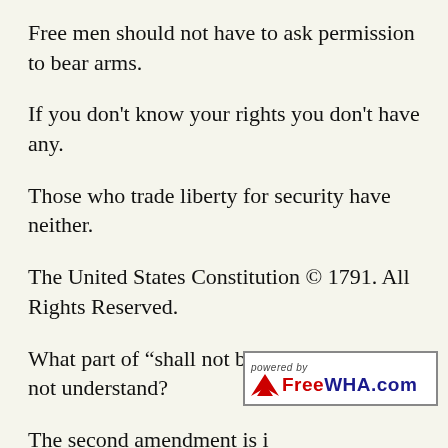Free men should not have to ask permission to bear arms.
If you don’t know your rights you don’t have any.
Those who trade liberty for security have neither.
The United States Constitution © 1791. All Rights Reserved.
What part of “shall not be infringed” do you not understand?
The second amendment is i[n...] they ignore the others.
[Figure (logo): FreeWHA.com powered by logo badge with red arrow icon]